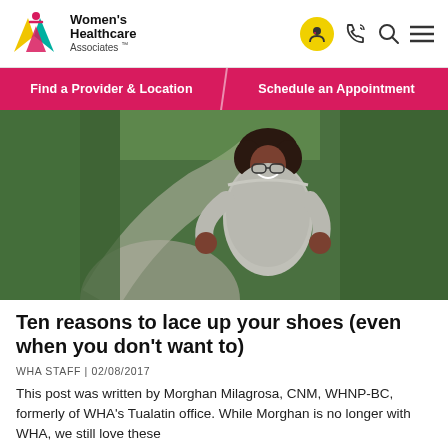[Figure (logo): Women's Healthcare Associates logo with colorful W emblem]
Women's Healthcare Associates
[Figure (infographic): Navigation bar with pink background: Find a Provider & Location | Schedule an Appointment]
[Figure (photo): A smiling Black woman jogging on a tree-lined path, wearing a grey long-sleeve shirt]
Ten reasons to lace up your shoes (even when you don't want to)
WHA STAFF | 02/08/2017
This post was written by Morghan Milagrosa, CNM, WHNP-BC, formerly of WHA's Tualatin office. While Morghan is no longer with WHA, we still love these